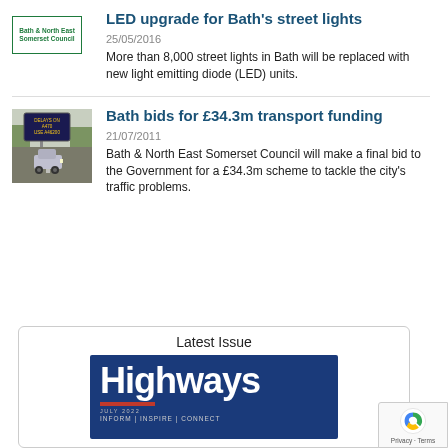[Figure (logo): Bath & North East Somerset Council logo with green border]
LED upgrade for Bath's street lights
25/05/2016
More than 8,000 street lights in Bath will be replaced with new light emitting diode (LED) units.
[Figure (photo): Photo of a car at a road sign showing traffic delay information]
Bath bids for £34.3m transport funding
21/07/2011
Bath & North East Somerset Council will make a final bid to the Government for a £34.3m scheme to tackle the city's traffic problems.
Latest Issue
[Figure (photo): Highways magazine cover, July 2022, dark blue background, large white Highways text, INFORM | INSPIRE | CONNECT tagline]